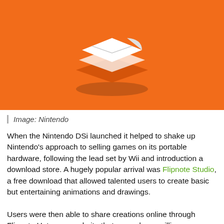[Figure (illustration): Flipnote Studio orange banner with white stylized logo of stacked pages/notes on an orange background]
Image: Nintendo
When the Nintendo DSi launched it helped to shake up Nintendo's approach to selling games on its portable hardware, following the lead set by Wii and introduction a download store. A hugely popular arrival was Flipnote Studio, a free download that allowed talented users to create basic but entertaining animations and drawings.
Users were then able to share creations online through Flipnote Hatena, a website that passed one million users. This app and the online service only lasted 4 years, however, due to the arrival of 3DS and a successor - Flipnote Studio 3D. The original Flipnote Hatena service was taken down